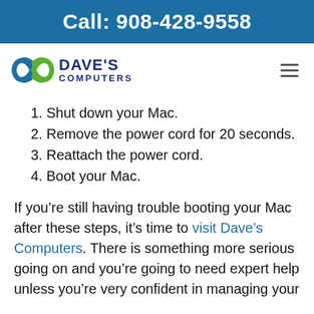Call: 908-428-9558
[Figure (logo): Dave's Computers logo with blue and green swoosh icon and bold navy text]
1. Shut down your Mac.
2. Remove the power cord for 20 seconds.
3. Reattach the power cord.
4. Boot your Mac.
If you’re still having trouble booting your Mac after these steps, it’s time to visit Dave’s Computers. There is something more serious going on and you’re going to need expert help unless you’re very confident in managing your